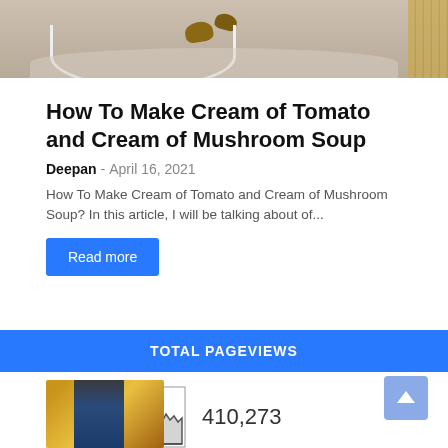[Figure (photo): Top portion of a bowl of cream soup with mushroom garnishes, with bamboo mat visible on right side]
How To Make Cream of Tomato and Cream of Mushroom Soup
Deepan - April 16, 2021
How To Make Cream of Tomato and Cream of Mushroom Soup? In this article, I will be talking about of...
Read more
TOTAL PAGEVIEWS
[Figure (continuous-plot): Small sparkline/area chart showing pageview trends over time]
410,273
[Figure (photo): Person in suit standing in a warmly lit venue]